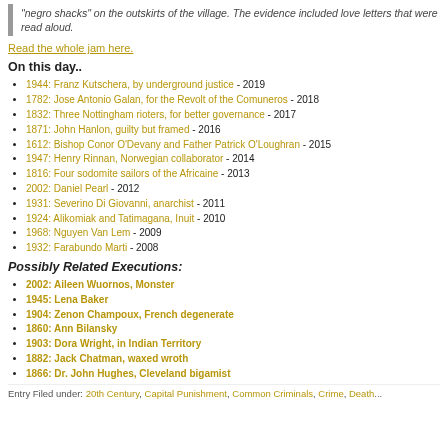"negro shacks" on the outskirts of the village. The evidence included love letters that were read aloud.
Read the whole jam here.
On this day..
1944: Franz Kutschera, by underground justice - 2019
1782: Jose Antonio Galan, for the Revolt of the Comuneros - 2018
1832: Three Nottingham rioters, for better governance - 2017
1871: John Hanlon, guilty but framed - 2016
1612: Bishop Conor O'Devany and Father Patrick O'Loughran - 2015
1947: Henry Rinnan, Norwegian collaborator - 2014
1816: Four sodomite sailors of the Africaine - 2013
2002: Daniel Pearl - 2012
1931: Severino Di Giovanni, anarchist - 2011
1924: Alikomiak and Tatimagana, Inuit - 2010
1968: Nguyen Van Lem - 2009
1932: Farabundo Marti - 2008
Possibly Related Executions:
2002: Aileen Wuornos, Monster
1945: Lena Baker
1904: Zenon Champoux, French degenerate
1860: Ann Bilansky
1903: Dora Wright, in Indian Territory
1882: Jack Chatman, waxed wroth
1866: Dr. John Hughes, Cleveland bigamist
Entry Filed under: 20th Century, Capital Punishment, Common Criminals, Crime, Death...